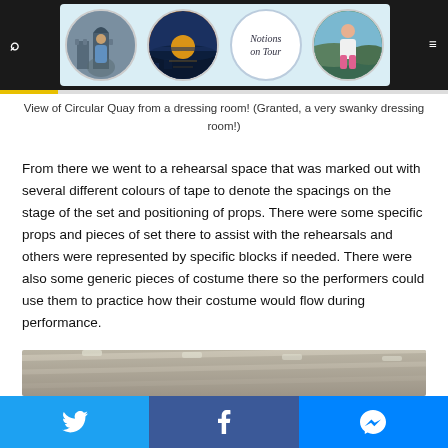[Figure (screenshot): Blog website header with dark navigation bar showing search and menu icons, and a banner with four circular images: a castle archway, a sunset over water, a script logo reading 'Notions on Tour', and a person outdoors.]
View of Circular Quay from a dressing room! (Granted, a very swanky dressing room!)
From there we went to a rehearsal space that was marked out with several different colours of tape to denote the spacings on the stage of the set and positioning of props. There were some specific props and pieces of set there to assist with the rehearsals and others were represented by specific blocks if needed. There were also some generic pieces of costume there so the performers could use them to practice how their costume would flow during performance.
[Figure (photo): Bottom portion of an indoor rehearsal space photo showing a ceiling with structural beams and lights.]
[Figure (infographic): Social sharing bar with three buttons: Twitter (blue), Facebook (dark blue), and Messenger (bright blue).]